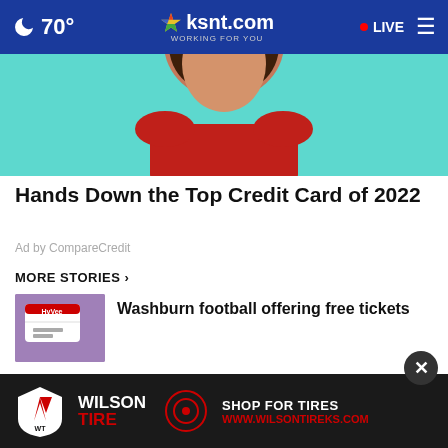🌙 70° | ksnt.com WORKING FOR YOU | • LIVE ≡
[Figure (photo): Partial photo of a woman in a red sweater against a teal background, used as advertisement image for credit card]
Hands Down the Top Credit Card of 2022
Ad by CompareCredit
MORE STORIES ›
[Figure (photo): Thumbnail image for Washburn football story showing HyVee branded materials]
Washburn football offering free tickets
[Figure (photo): Thumbnail image for car crash story showing road with crash aftermath]
Injuries reported in Topeka car crash
[Figure (photo): Wilson Tire advertisement banner with logo and 'SHOP FOR TIRES WWW.WILSONTIREKS.COM']
WILSON TIRE SHOP FOR TIRES WWW.WILSONTIREKS.COM